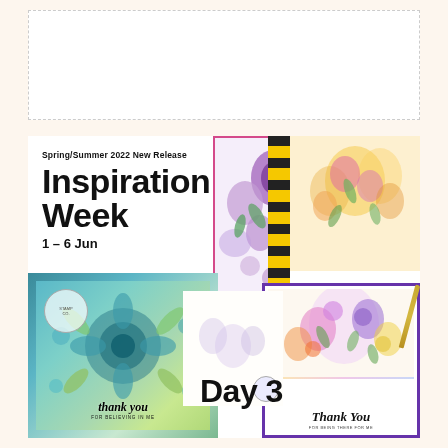[Figure (photo): Blank placeholder rectangle with dashed border at the top of the page]
[Figure (infographic): Spring/Summer 2022 New Release Inspiration Week 1-6 Jun promotional collage showing multiple handmade floral greeting cards with text overlays including 'So Blessed', 'Thank You' and 'Day 3']
Spring/Summer 2022 New Release
Inspiration Week
1 – 6 Jun
Day 3